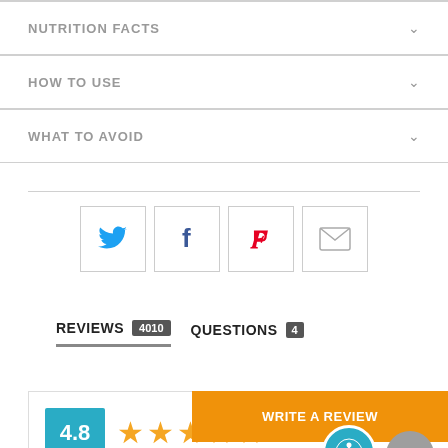NUTRITION FACTS
HOW TO USE
WHAT TO AVOID
[Figure (infographic): Social sharing buttons: Twitter (blue bird), Facebook (blue f), Pinterest (red P), Email (envelope icon), each in a square bordered box]
REVIEWS 4010   QUESTIONS 4
WRITE A REVIEW
4.8 with 5 orange stars rating